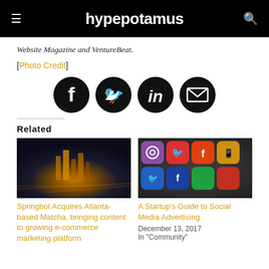hypepotamus
Website Magazine and VentureBeat.
[Photo Credit]
[Figure (infographic): Four circular social media share icons: Facebook, Twitter, LinkedIn, Email]
Related
[Figure (photo): Aerial night view of Atlanta city skyline with lights]
Springbot Acquires Atlanta-based Matcha, bringing content to growing e-commerce marketing platform
[Figure (photo): Close-up of smartphone screen showing social media app icons including Instagram, Twitter, Facebook]
A Startup's Guide to Social Media Advertising
December 13, 2017
In "Community"